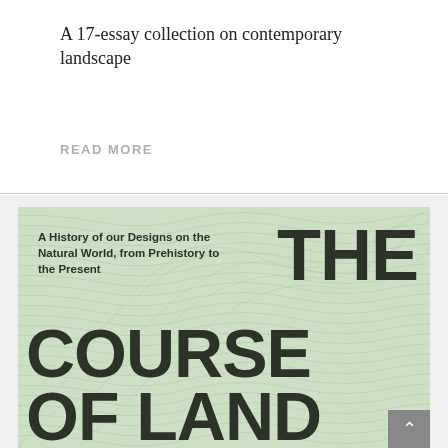A 17-essay collection on contemporary landscape
READ MORE
[Figure (photo): Book cover of 'The Course of Landscape' showing large bold dark text on a light green wavy-pattern background. Subtitle reads 'A History of our Designs on the Natural World, from Prehistory to the Present'. Visible text includes 'THE', 'COURSE', 'OF LAND' with more text cut off at bottom.]